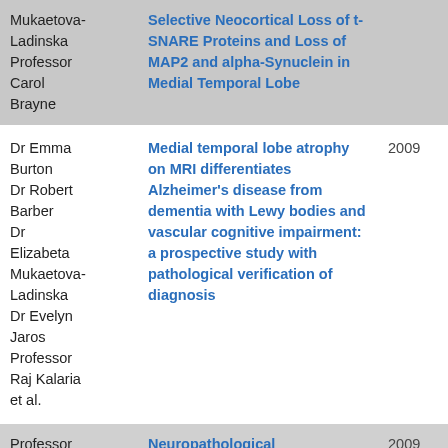| Author | Title | Year |
| --- | --- | --- |
| Mukaetova-Ladinska
Professor Carol Brayne | Selective Neocortical Loss of t-SNARE Proteins and Loss of MAP2 and alpha-Synuclein in Medial Temporal Lobe |  |
| Dr Emma Burton
Dr Robert Barber
Dr Elizabeta Mukaetova-Ladinska
Dr Evelyn Jaros
Professor Raj Kalaria
et al. | Medial temporal lobe atrophy on MRI differentiates Alzheimer's disease from dementia with Lewy bodies and vascular cognitive impairment: a prospective study with pathological verification of diagnosis | 2009 |
| Professor | Neuropathological | 2009 |